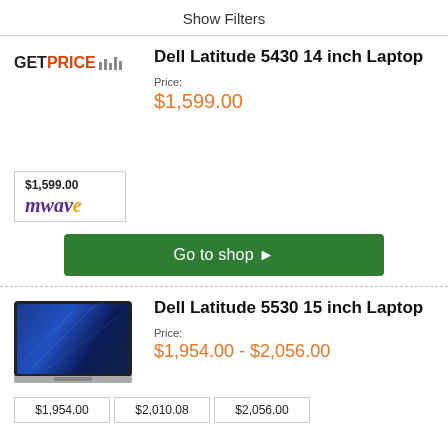Show Filters
[Figure (logo): GETPRICE logo with barcode graphic]
Dell Latitude 5430 14 inch Laptop
Price:
$1,599.00
[Figure (logo): mwave retailer box showing $1,599.00 and mwave logo]
Go to shop ▶
[Figure (photo): Photo of Dell Latitude 5530 15 inch laptop]
Dell Latitude 5530 15 inch Laptop
Price:
$1,954.00 - $2,056.00
$1,954.00
$2,010.08
$2,056.00